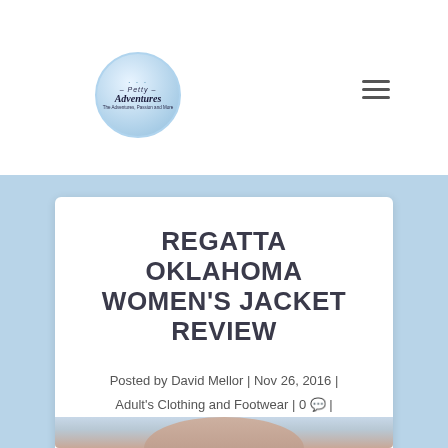[Figure (logo): Petty Adventures circular logo with blue gradient background and script text]
REGATTA OKLAHOMA WOMEN'S JACKET REVIEW
Posted by David Mellor | Nov 26, 2016 | Adult's Clothing and Footwear | 0 |
[Figure (photo): Bottom portion of a photo showing a person wearing the jacket, partially visible]